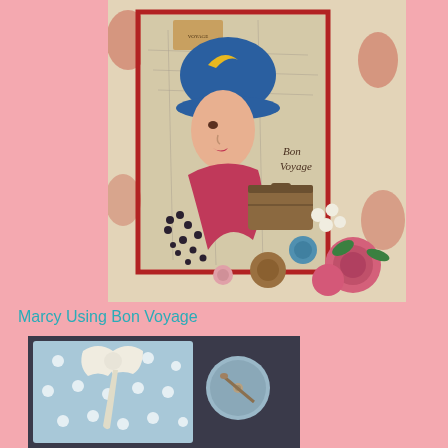[Figure (photo): A vintage-style mixed media art piece featuring a 1920s woman in profile wearing a blue cloche hat with a yellow crescent accent, pink/red scarf, set against a floral and map-patterned background with text 'Bon Voyage', decorative beads, flowers (pink roses, blue roses), pearl embellishments, and an old suitcase image.]
Marcy Using Bon Voyage
[Figure (photo): A craft/mixed media piece showing light blue polka-dot fabric, a cream/ivory bow or ribbon, and a small round button embellishment on a dark background.]